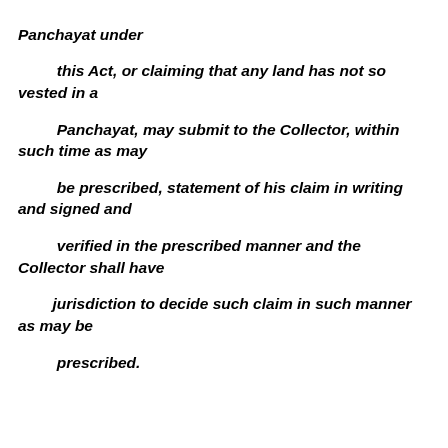Panchayat under this Act, or claiming that any land has not so vested in a Panchayat, may submit to the Collector, within such time as may be prescribed, statement of his claim in writing and signed and verified in the prescribed manner and the Collector shall have jurisdiction to decide such claim in such manner as may be prescribed.